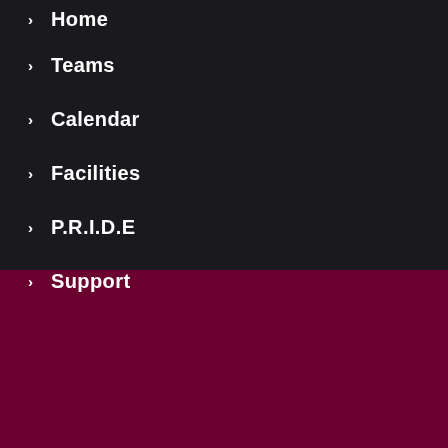Home
Teams
Calendar
Facilities
P.R.I.D.E
Support